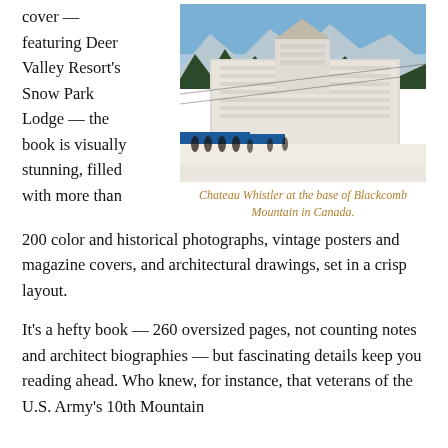cover — featuring Deer Valley Resort's Snow Park Lodge — the book is visually stunning, filled with more than
[Figure (photo): Chateau Whistler hotel building at the base of Blackcomb Mountain in Canada, with snow on the ground and people visible in the foreground]
Chateau Whistler at the base of Blackcomb Mountain in Canada.
200 color and historical photographs, vintage posters and magazine covers, and architectural drawings, set in a crisp layout.
It's a hefty book — 260 oversized pages, not counting notes and architect biographies — but fascinating details keep you reading ahead. Who knew, for instance, that veterans of the U.S. Army's 10th Mountain